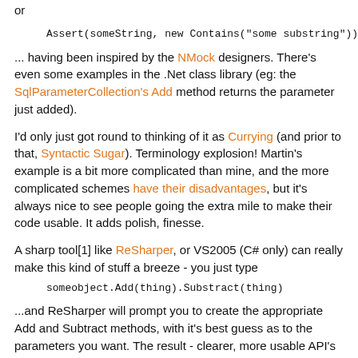or
... having been inspired by the NMock designers. There's even some examples in the .Net class library (eg: the SqlParameterCollection's Add method returns the parameter just added).
I'd only just got round to thinking of it as Currying (and prior to that, Syntactic Sugar). Terminology explosion! Martin's example is a bit more complicated than mine, and the more complicated schemes have their disadvantages, but it's always nice to see people going the extra mile to make their code usable. It adds polish, finesse.
A sharp tool[1] like ReSharper, or VS2005 (C# only) can really make this kind of stuff a breeze - you just type
...and ReSharper will prompt you to create the appropriate Add and Subtract methods, with it's best guess as to the parameters you want. The result - clearer, more usable API's